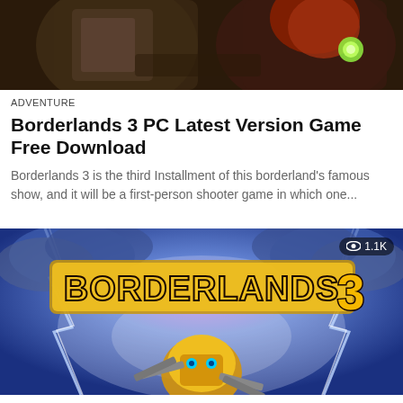[Figure (photo): Cropped bottom portion of a Borderlands game artwork showing two characters — a rugged warrior and a red-haired woman with a glowing orb]
ADVENTURE
Borderlands 3 PC Latest Version Game Free Download
Borderlands 3 is the third Installment of this borderland's famous show, and it will be a first-person shooter game in which one...
[Figure (photo): Borderlands 3 game promotional image with yellow logo text on blue stormy background, featuring a masked character with guns. Badge showing eye icon and 1.1K views.]
ACTION
Borderlands 3 PC Version Game Free Download
Borderlands 3 PC Version Game Free Download Borderlands 3 Summary Take and loot your way via a mayhem-fueled experience